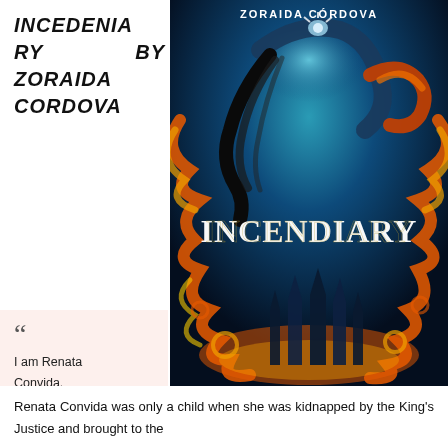INCENDIARY BY ZORAIDA CORDOVA
[Figure (illustration): Book cover of Incendiary by Zoraida Córdova. Dark fantasy cover with a figure with long dark hair arching backward surrounded by orange flames and fire swirls. The title INCENDIARY appears in large ornate letters in the center, with the author name ZORAIDA CÓRDOVA at the top. Dark castle spires visible at the bottom against a teal glowing sky.]
““
I am Renata Convida.
I have lived a hundred stolen lives.
Now I live my own.
Renata Convida was only a child when she was kidnapped by the King's Justice and brought to the